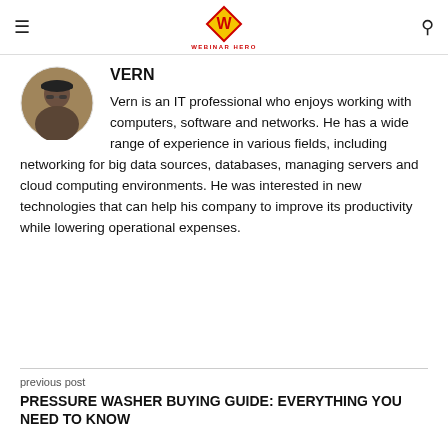WEBINAR HERO
VERN
Vern is an IT professional who enjoys working with computers, software and networks. He has a wide range of experience in various fields, including networking for big data sources, databases, managing servers and cloud computing environments. He was interested in new technologies that can help his company to improve its productivity while lowering operational expenses.
previous post
PRESSURE WASHER BUYING GUIDE: EVERYTHING YOU NEED TO KNOW